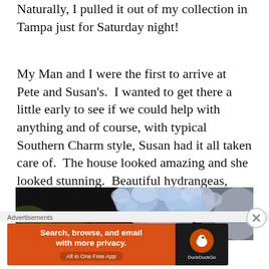Naturally, I pulled it out of my collection in Tampa just for Saturday night!
My Man and I were the first to arrive at Pete and Susan's.  I wanted to get there a little early to see if we could help with anything and of course, with typical Southern Charm style, Susan had it all taken care of.  The house looked amazing and she looked stunning.  Beautiful hydrangeas, fresh from their yard, filled vases all over the house!
[Figure (photo): Close-up photograph of blue/purple hydrangea flowers against a dark background]
Advertisements
[Figure (screenshot): DuckDuckGo advertisement banner: 'Search, browse, and email with more privacy. All in One Free App' with DuckDuckGo logo on dark background]